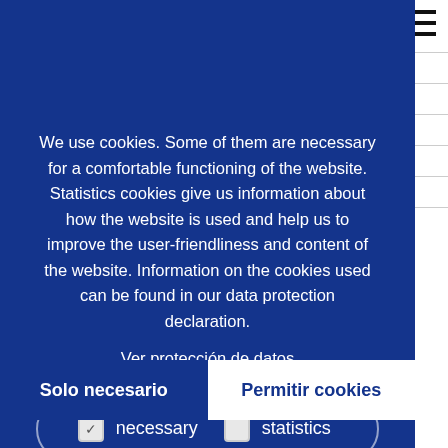We use cookies. Some of them are necessary for a comfortable functioning of the website. Statistics cookies give us information about how the website is used and help us to improve the user-friendliness and content of the website. Information on the cookies used can be found in our data protection declaration.
Ver protección de datos
necessary   statistics
Solo necesario
Permitir cookies
Setup of NiMU production in Ellwangen